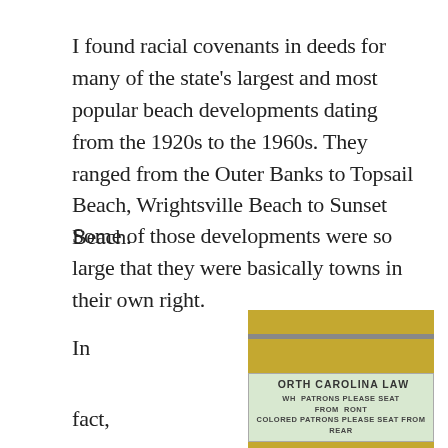I found racial covenants in deeds for many of the state’s largest and most popular beach developments dating from the 1920s to the 1960s. They ranged from the Outer Banks to Topsail Beach, Wrightsville Beach to Sunset Beach.
Some of those developments were so large that they were basically towns in their own right.
In

fact,

some

of

those
[Figure (photo): Photograph of a segregation-era sign reading 'NORTH CAROLINA LAW / WHITE PATRONS PLEASE SEAT FROM FRONT / COLORED PATRONS PLEASE SEAT FROM REAR' mounted on a yellow wall]